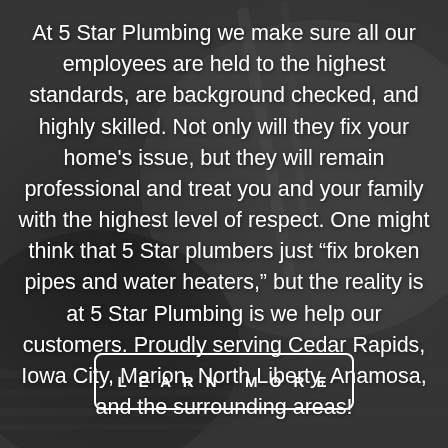[Figure (photo): Dark background photo of a person (plumber) working with pipes/plumbing equipment, used as page background]
At 5 Star Plumbing we make sure all our employees are held to the highest standards, are background checked, and highly skilled. Not only will they fix your home's issue, but they will remain professional and treat you and your family with the highest level of respect. One might think that 5 Star plumbers just “fix broken pipes and water heaters,” but the reality is at 5 Star Plumbing is we help our customers. Proudly serving Cedar Rapids, Iowa City, Marion, North Liberty, Anamosa, and the surrounding areas!
LEARN MORE